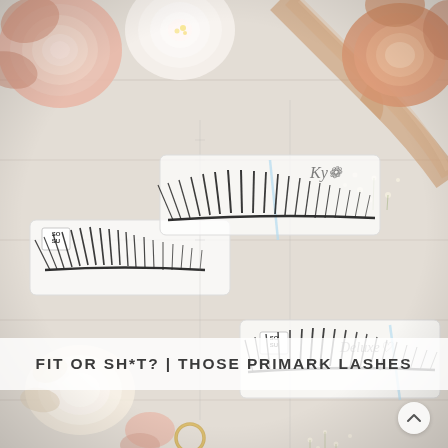[Figure (photo): Flat lay photo of SOSU brand false eyelash sets in clear packaging on a rustic white wood surface. Three lash trays visible: one labeled 'SO SU' on the left, one with handwritten 'Kylie' style signature in the center, and one labeled 'SO SU' with 'Deluxe' style signature on the right. Decorated with peach/blush roses, a rose gold satin ribbon, and small white wildflowers around the edges.]
FIT OR SH*T? | THOSE PRIMARK LASHES